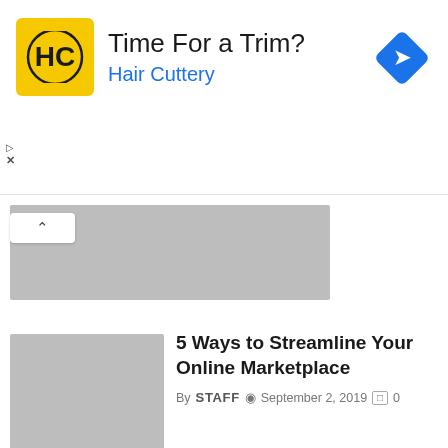[Figure (screenshot): Advertisement banner for Hair Cuttery with yellow logo, 'Time For a Trim?' heading, blue 'Hair Cuttery' subtext, blue diamond navigation arrow icon, and ad control icons]
[Figure (photo): Gray placeholder thumbnail image at top of content area with chevron/collapse button]
[Figure (photo): Gray placeholder thumbnail image for article]
5 Ways to Streamline Your Online Marketplace
By STAFF  September 2, 2019  0